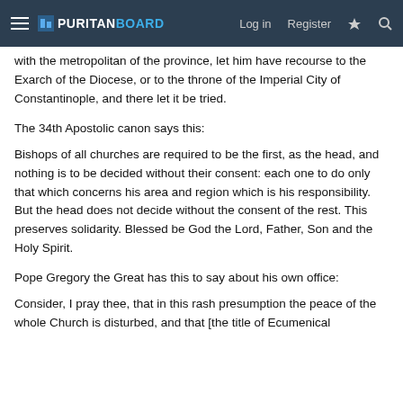PURITANBOARD — Log in  Register
with the metropolitan of the province, let him have recourse to the Exarch of the Diocese, or to the throne of the Imperial City of Constantinople, and there let it be tried.
The 34th Apostolic canon says this:
Bishops of all churches are required to be the first, as the head, and nothing is to be decided without their consent: each one to do only that which concerns his area and region which is his responsibility. But the head does not decide without the consent of the rest. This preserves solidarity. Blessed be God the Lord, Father, Son and the Holy Spirit.
Pope Gregory the Great has this to say about his own office:
Consider, I pray thee, that in this rash presumption the peace of the whole Church is disturbed, and that [the title of Ecumenical